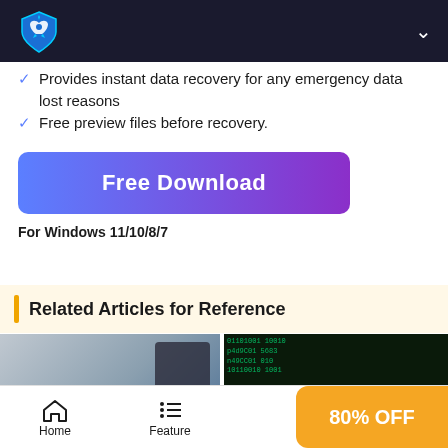Header navigation bar with logo and chevron
Provides instant data recovery for any emergency data lost reasons
Free preview files before recovery.
[Figure (other): Free Download button with blue-to-purple gradient]
For Windows 11/10/8/7
Related Articles for Reference
[Figure (photo): Two article thumbnail images labeled Data Recovery]
Home | Feature | 80% OFF